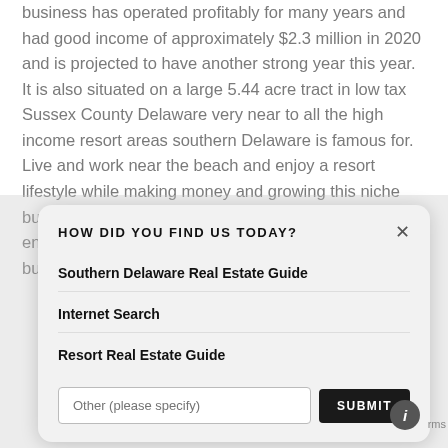business has operated profitably for many years and had good income of approximately $2.3 million in 2020 and is projected to have another strong year this year. It is also situated on a large 5.44 acre tract in low tax Sussex County Delaware very near to all the high income resort areas southern Delaware is famous for. Live and work near the beach and enjoy a resort lifestyle while making money and growing this niche business. This is a truly unique offering for an entrepreneur looking to own a successful and well run business in a a fantastic location.
HOW DID YOU FIND US TODAY?
Southern Delaware Real Estate Guide
Internet Search
Resort Real Estate Guide
Other (please specify)
SUBMIT